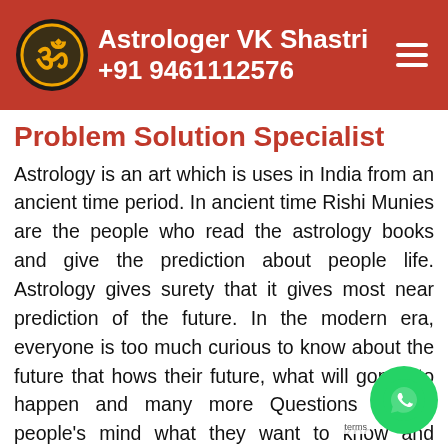Astrologer VK Shastri +91 9461112576
Problem Solution Specialist
Astrology is an art which is uses in India from an ancient time period. In ancient time Rishi Munies are the people who read the astrology books and give the prediction about people life. Astrology gives surety that it gives most near prediction of the future. In the modern era, everyone is too much curious to know about the future that hows their future, what will gonna to happen and many more Questions run in people's mind what they want to know and astrology is the only the thing which can tell everything about future. Human life is full of ups and downs and in this, if something will make aware you with the upcoming problems and tragedies then what a then this? Because if you are already aware problems then you can take precaution before the